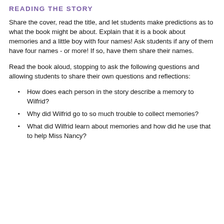READING THE STORY
Share the cover, read the title, and let students make predictions as to what the book might be about. Explain that it is a book about memories and a little boy with four names! Ask students if any of them have four names - or more! If so, have them share their names.
Read the book aloud, stopping to ask the following questions and allowing students to share their own questions and reflections:
How does each person in the story describe a memory to Wilfrid?
Why did Wilfrid go to so much trouble to collect memories?
What did Wilfrid learn about memories and how did he use that to help Miss Nancy?